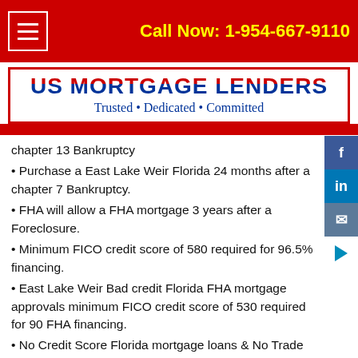Call Now: 1-954-667-9110
[Figure (logo): US Mortgage Lenders logo with text 'Trusted • Dedicated • Committed']
chapter 13 Bankruptcy
• Purchase a East Lake Weir Florida 24 months after a chapter 7 Bankruptcy.
• FHA will allow a FHA mortgage 3 years after a Foreclosure.
• Minimum FICO credit score of 580 required for 96.5% financing.
• East Lake Weir Bad credit Florida FHA mortgage approvals minimum FICO credit score of 530 required for 90 FHA financing.
• No Credit Score Florida mortgage loans & No Trade Line Florida FHA home loans.
EAST LAKE WEIR FLORIDA FHA MORTGAGE LOANS